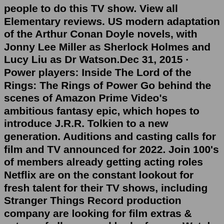Sherlock and Watson. they dels picked the right two people to do this TV show. View all Elementary reviews. US modern adaptation of the Arthur Conan Doyle novels, with Jonny Lee Miller as Sherlock Holmes and Lucy Liu as Dr Watson.Dec 31, 2015 · Power players: Inside The Lord of the Rings: The Rings of Power Go behind the scenes of Amazon Prime Video's ambitious fantasy epic, which hopes to introduce J.R.R. Tolkien to a new generation. Auditions and casting calls for film and TV announced for 2022. Join 100's of members already getting acting roles Netflix are on the constant lookout for fresh talent for their TV shows, including Stranger Things Record production company are looking for film extras & actors of all ages and looks for an...Watch Series online free and stream live TV shows including Big Brother, Survivor, SNL, NCIS, The Late Show, The Young and The Restless, and more. Full episodes online.Alfredo Llamosa 9 episodes, 2012-2018. Tim Guinee. ... NSA Agent McNally / ... 8 episodes, 2014-2019. Robert Capron. ...